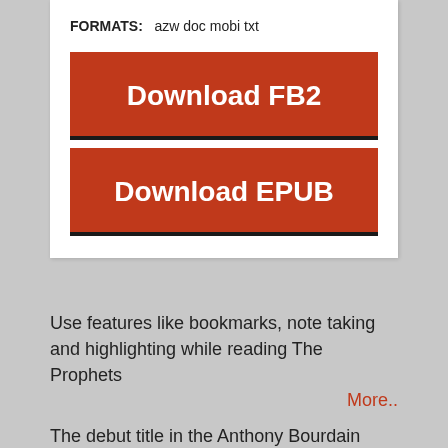FORMATS:   azw doc mobi txt
[Figure (other): Download FB2 button — large red rectangle with white bold text 'Download FB2']
[Figure (other): Download EPUB button — large red rectangle with white bold text 'Download EPUB']
Use features like bookmarks, note taking and highlighting while reading The Prophets
More..
The debut title in the Anthony Bourdain Books line, The Prophets of Smoked Meat by “Barbecue Snob” Daniel Vaughn, author of the enormously popular blog Full Custom Gospel BBQ, is a rollicking journey through